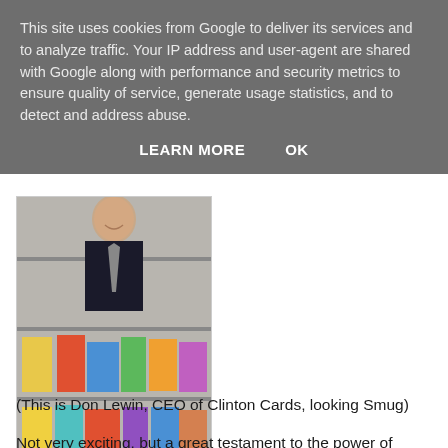This site uses cookies from Google to deliver its services and to analyze traffic. Your IP address and user-agent are shared with Google along with performance and security metrics to ensure quality of service, generate usage statistics, and to detect and address abuse.
LEARN MORE    OK
[Figure (photo): A man in a suit smiling behind rows of greeting cards and children's books in a store display.]
(This is Don Lewin, CEO of Clinton Cards, looking Smug)
Not very exciting, but a great testament to the power of